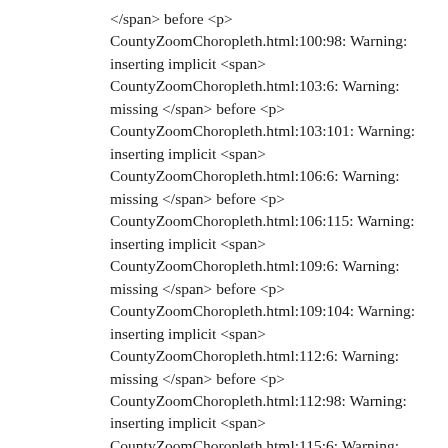</span> before <p>
CountyZoomChoropleth.html:100:98: Warning: inserting implicit <span>
CountyZoomChoropleth.html:103:6: Warning: missing </span> before <p>
CountyZoomChoropleth.html:103:101: Warning: inserting implicit <span>
CountyZoomChoropleth.html:106:6: Warning: missing </span> before <p>
CountyZoomChoropleth.html:106:115: Warning: inserting implicit <span>
CountyZoomChoropleth.html:109:6: Warning: missing </span> before <p>
CountyZoomChoropleth.html:109:104: Warning: inserting implicit <span>
CountyZoomChoropleth.html:112:6: Warning: missing </span> before <p>
CountyZoomChoropleth.html:112:98: Warning: inserting implicit <span>
CountyZoomChoropleth.html:115:6: Warning: missing </span> before <p>
CountyZoomChoropleth.html:115:101: Warning: inserting implicit <span>
CountyZoomChoropleth.html:118:6: Warning: missing </span> before <p>